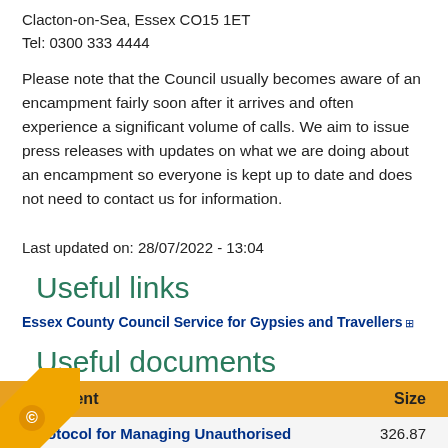Clacton-on-Sea, Essex CO15 1ET
Tel: 0300 333 4444
Please note that the Council usually becomes aware of an encampment fairly soon after it arrives and often experience a significant volume of calls. We aim to issue press releases with updates on what we are doing about an encampment so everyone is kept up to date and does not need to contact us for information.
Last updated on: 28/07/2022 - 13:04
Useful links
Essex County Council Service for Gypsies and Travellers
Useful documents
| Attachment | Size |
| --- | --- |
| Protocol for Managing Unauthorised | 326.87 |